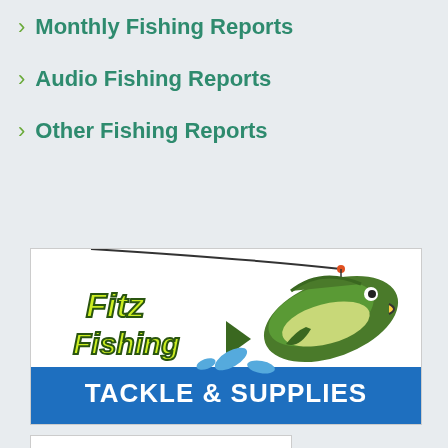Monthly Fishing Reports
Audio Fishing Reports
Other Fishing Reports
[Figure (logo): Fitz Fishing Tackle & Supplies advertisement logo with a bass fish jumping out of water and fishing rod]
[Figure (photo): The Alhonna Resort & Marina advertisement, home of Bobber's Restaurant & Lounge, 573-365-2634, www.thealhonnaresort.com, with photo of resort by water]